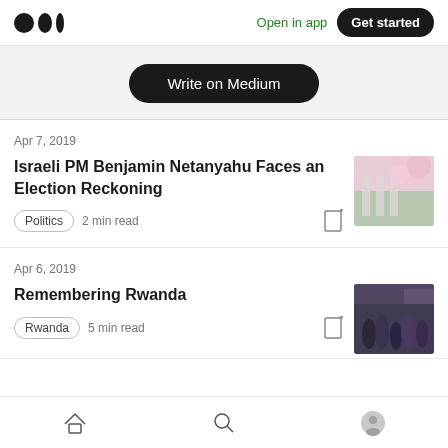Medium app header with logo, Open in app, Get started
Write on Medium
Apr 7, 2019
Israeli PM Benjamin Netanyahu Faces an Election Reckoning
Politics  2 min read
Apr 6, 2019
Remembering Rwanda
Rwanda  5 min read
Home  Search  Profile